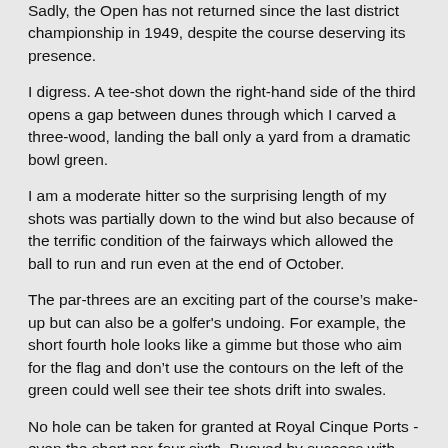Sadly, the Open has not returned since the last district championship in 1949, despite the course deserving its presence.
I digress. A tee-shot down the right-hand side of the third opens a gap between dunes through which I carved a three-wood, landing the ball only a yard from a dramatic bowl green.
I am a moderate hitter so the surprising length of my shots was partially down to the wind but also because of the terrific condition of the fairways which allowed the ball to run and run even at the end of October.
The par-threes are an exciting part of the course’s make-up but can also be a golfer's undoing. For example, the short fourth hole looks like a gimme but those who aim for the flag and don’t use the contours on the left of the green could well see their tee shots drift into swales.
No hole can be taken for granted at Royal Cinque Ports - even the short par-four sixth. Buoyed by success with the wind at my back I ignored my playing partner reading from his shot-saver that I should lay up down the left.
I took on a dune with my driver and suffice to say we counted Mrs W’s par on that hole.
We sat smugly over our delicious fruit cake at the halfway but